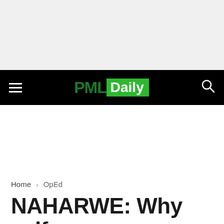[Figure (logo): PML Daily website header with black navigation bar, hamburger menu on left, PML Daily logo in center (PML in dark green, Daily in white on green background), search icon on right]
Home › OpEd
NAHARWE: Why self